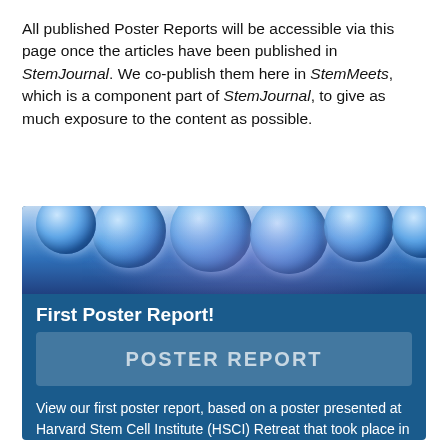All published Poster Reports will be accessible via this page once the articles have been published in StemJournal. We co-publish them here in StemMeets, which is a component part of StemJournal, to give as much exposure to the content as possible.
[Figure (illustration): Blue card with stem cell image at top, title 'First Poster Report!', a 'POSTER REPORT' placeholder image, and descriptive text about a poster presented at Harvard Stem Cell Institute (HSCI) Retreat in May 2020.]